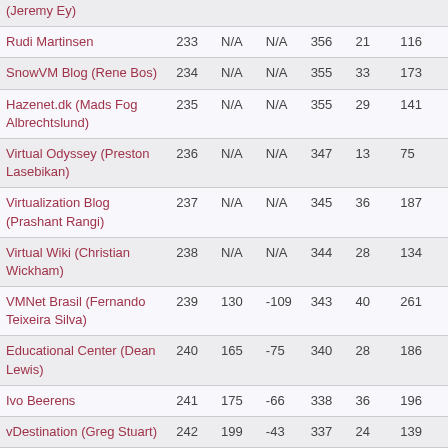| (Jeremy Ey) |  |  |  |  |  |  |
| Rudi Martinsen | 233 | N/A | N/A | 356 | 21 | 116 |
| SnowVM Blog (Rene Bos) | 234 | N/A | N/A | 355 | 33 | 173 |
| Hazenet.dk (Mads Fog Albrechtslund) | 235 | N/A | N/A | 355 | 29 | 141 |
| Virtual Odyssey (Preston Lasebikan) | 236 | N/A | N/A | 347 | 13 | 75 |
| Virtualization Blog (Prashant Rangi) | 237 | N/A | N/A | 345 | 36 | 187 |
| Virtual Wiki (Christian Wickham) | 238 | N/A | N/A | 344 | 28 | 134 |
| VMNet Brasil (Fernando Teixeira Silva) | 239 | 130 | -109 | 343 | 40 | 261 |
| Educational Center (Dean Lewis) | 240 | 165 | -75 | 340 | 28 | 186 |
| Ivo Beerens | 241 | 175 | -66 | 338 | 36 | 196 |
| vDestination (Greg Stuart) | 242 | 199 | -43 | 337 | 24 | 139 |